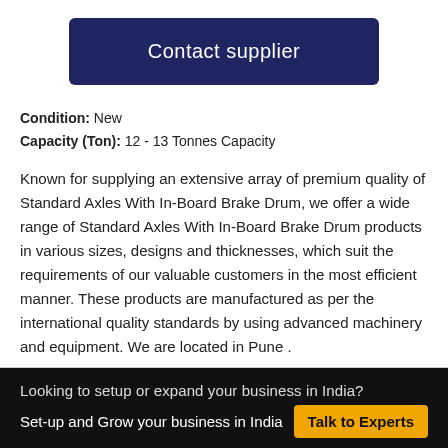Contact supplier
Condition: New
Capacity (Ton): 12 - 13 Tonnes Capacity
Known for supplying an extensive array of premium quality of Standard Axles With In-Board Brake Drum, we offer a wide range of Standard Axles With In-Board Brake Drum products in various sizes, designs and thicknesses, which suit the requirements of our valuable customers in the most efficient manner. These products are manufactured as per the international quality standards by using advanced machinery and equipment. We are located in Pune .
Looking to setup or expand your business in India?
Set-up and Grow your business in India   Talk to Experts